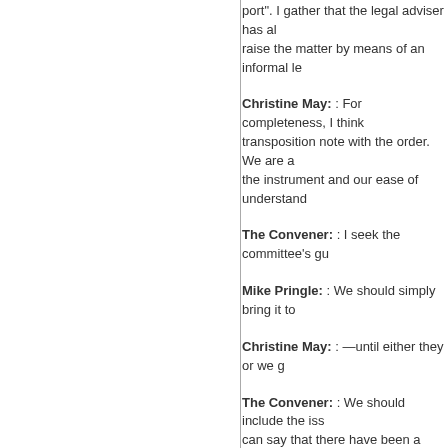port". I gather that the legal adviser has also raise the matter by means of an informal le
Christine May: : For completeness, I think transposition note with the order. We are a the instrument and our ease of understand
The Convener: : I seek the committee's gu
Mike Pringle: : We should simply bring it to
Christine May: : —until either they or we g
The Convener: : We should include the iss can say that there have been a given numb
Alasdair Morgan: : One other point has ju clarified. I am not clear as to what extent th ports—but it strikes me that some of the a previous instrument. Although the order ha really have to read the original instrument i even—to publish an amended, consolidate would be far easier for laymen—or fisherm
The Convener: : I think that we should rais